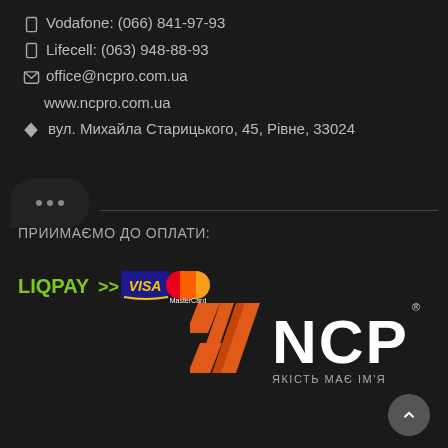Vodafone: (066) 841-97-93
Lifecell: (063) 948-88-93
office@ncpro.com.ua
www.ncpro.com.ua
вул. Михайла Старицького, 45, Рівне, 33024
ПРИЙМАЄМО ДО ОПЛАТИ:
[Figure (logo): LiqPay, Visa and MasterCard payment logos]
[Figure (logo): NCP logo with Ukrainian tagline ЯКІСТЬ МАЄ ІМ'Я]